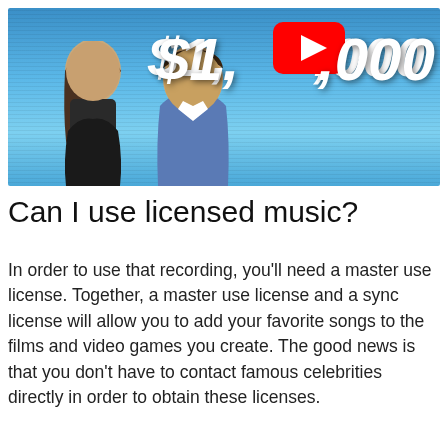[Figure (screenshot): YouTube video thumbnail showing two people (a woman and a man) against a blue gradient background with scan lines, displaying '$1,[YouTube play button],000' text in large white italic font, partially obscured by the YouTube play button icon.]
Can I use licensed music?
In order to use that recording, you'll need a master use license. Together, a master use license and a sync license will allow you to add your favorite songs to the films and video games you create. The good news is that you don't have to contact famous celebrities directly in order to obtain these licenses.